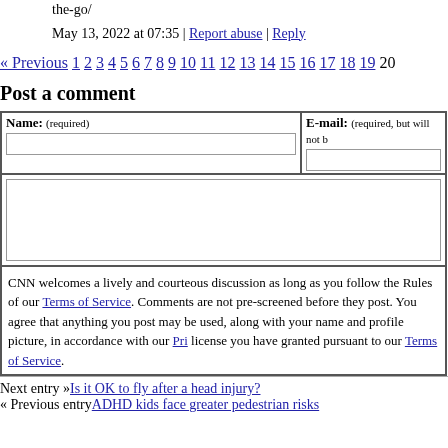the-go/
May 13, 2022 at 07:35 | Report abuse | Reply
« Previous 1 2 3 4 5 6 7 8 9 10 11 12 13 14 15 16 17 18 19 20
Post a comment
| Name: (required) | E-mail: (required, but will not be displayed) |
| --- | --- |
|  |
CNN welcomes a lively and courteous discussion as long as you follow the Rules of our Terms of Service. Comments are not pre-screened before they post. You agree that anything you post may be used, along with your name and profile picture, in accordance with our Privacy Policy and the license you have granted pursuant to our Terms of Service.
Next entry »Is it OK to fly after a head injury?
« Previous entryADHD kids face greater pedestrian risks